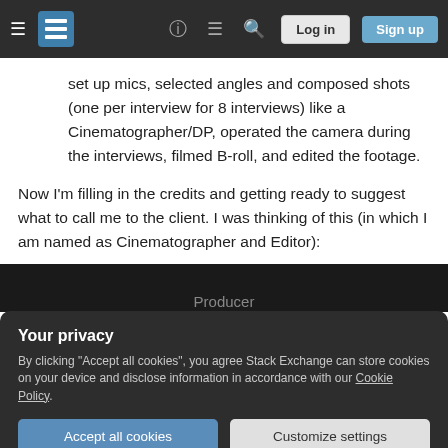Stack Exchange navigation bar with hamburger menu, logo, help, chat, search, Log in, Sign up
set up mics, selected angles and composed shots (one per interview for 8 interviews) like a Cinematographer/DP, operated the camera during the interviews, filmed B-roll, and edited the footage.
Now I'm filling in the credits and getting ready to suggest what to call me to the client. I was thinking of this (in which I am named as Cinematographer and Editor):
[Figure (screenshot): Dark image strip at bottom showing 'Producer' text]
Your privacy
By clicking "Accept all cookies", you agree Stack Exchange can store cookies on your device and disclose information in accordance with our Cookie Policy.
Accept all cookies   Customize settings